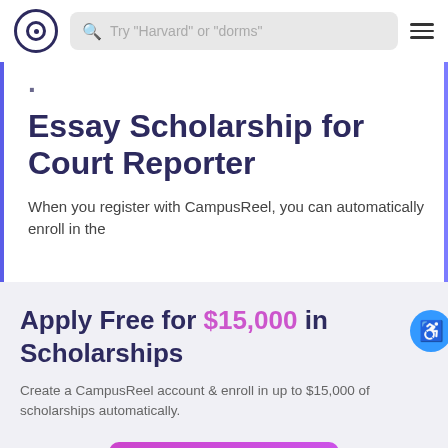[Figure (logo): CampusReel logo: circle with inner concentric circle and dot]
Try "Harvard" or "dorms"
Essay Scholarship for Court Reporter
When you register with CampusReel, you can automatically enroll in the
Apply Free for $15,000 in Scholarships
Create a CampusReel account & enroll in up to $15,000 of scholarships automatically.
Register for Free